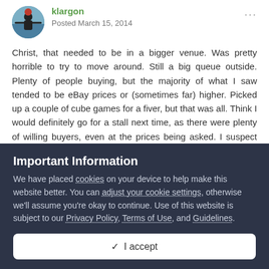klargon — Posted March 15, 2014
Christ, that needed to be in a bigger venue. Was pretty horrible to try to move around. Still a big queue outside. Plenty of people buying, but the majority of what I saw tended to be eBay prices or (sometimes far) higher. Picked up a couple of cube games for a fiver, but that was all. Think I would definitely go for a stall next time, as there were plenty of willing buyers, even at the prices being asked. I suspect there were bargains to be had, but it was so rammed I didn't really want to fight my way through to look for them.
Important Information
We have placed cookies on your device to help make this website better. You can adjust your cookie settings, otherwise we'll assume you're okay to continue. Use of this website is subject to our Privacy Policy, Terms of Use, and Guidelines.
✓  I accept